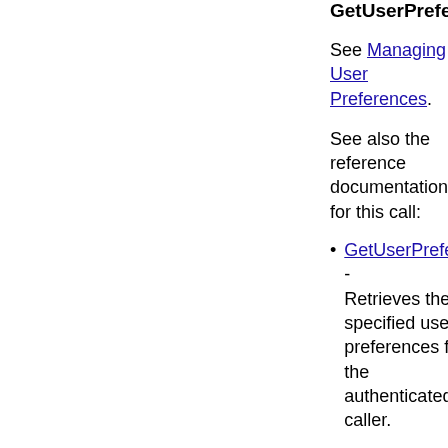GetUserPreference
See Managing User Preferences.
See also the reference documentation for this call:
GetUserPreferences - Retrieves the specified user preferences for the authenticated caller.